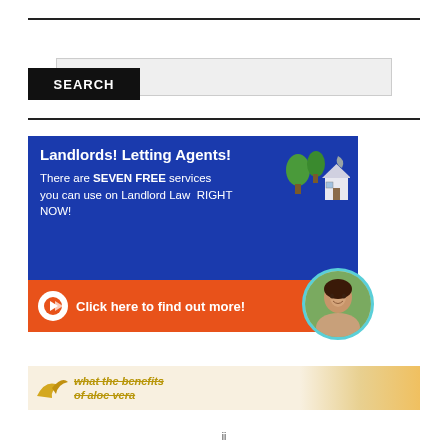[Figure (screenshot): Search bar UI element with grey input box and black SEARCH button below]
[Figure (infographic): Landlord Law advertisement banner. Blue section reads: 'Landlords! Letting Agents! There are SEVEN FREE services you can use on Landlord Law RIGHT NOW!' with tree and house illustration. Orange section reads: 'Click here to find out more!' with arrow icon.]
[Figure (infographic): Teal chat bubble overlay with text: 'Want to ask a Solicitor online now? I can connect you ...' with circular avatar photo of a woman on the right.]
[Figure (infographic): Bottom strip showing partially visible advertisement about aloe vera with golden text 'what the benefits of aloe vera']